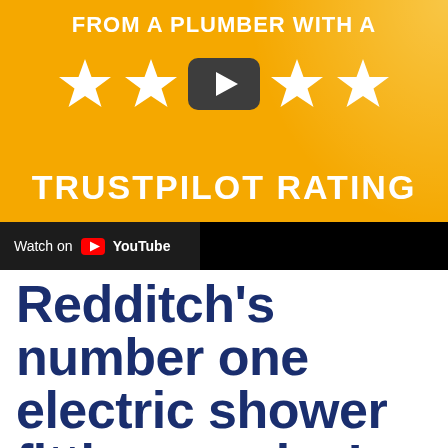[Figure (screenshot): YouTube video thumbnail with golden/amber background showing five stars, a YouTube play button in the center, text 'FROM A PLUMBER WITH A' at top and 'TRUSTPILOT RATING' below the stars, with a 'Watch on YouTube' bar at the bottom.]
Redditch's number one electric shower fitting service!